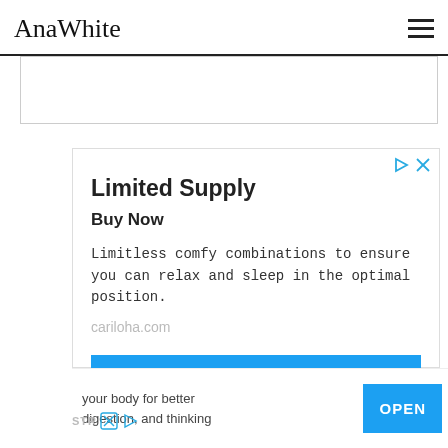AnaWhite
[Figure (screenshot): Partial content box visible at top, cropped website content]
[Figure (screenshot): Advertisement box: Limited Supply / Buy Now / Limitless comfy combinations to ensure you can relax and sleep in the optimal position. / cariloha.com / OPEN button]
Limited Supply
Buy Now
Limitless comfy combinations to ensure you can relax and sleep in the optimal position.
cariloha.com
[Figure (screenshot): Bottom partial advertisement bar showing: 'your body for better digestion, and thinking' with OPEN button and STR brand label with ad icons]